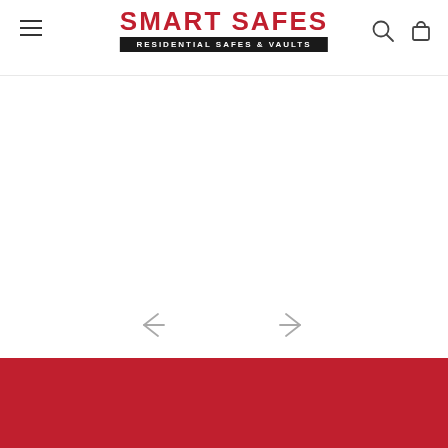SMART SAFES — RESIDENTIAL SAFES & VAULTS
[Figure (other): Large empty white content area — product image carousel placeholder with left and right navigation arrows]
[Figure (other): Red footer banner bar at the bottom of the page]